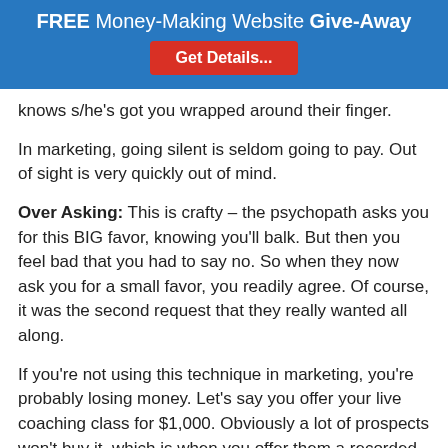FREE Money-Making Website Give-Away
Get Details...
knows s/he's got you wrapped around their finger.
In marketing, going silent is seldom going to pay. Out of sight is very quickly out of mind.
Over Asking: This is crafty – the psychopath asks you for this BIG favor, knowing you'll balk. But then you feel bad that you had to say no. So when they now ask you for a small favor, you readily agree. Of course, it was the second request that they really wanted all along.
If you're not using this technique in marketing, you're probably losing money. Let's say you offer your live coaching class for $1,000. Obviously a lot of prospects won't buy it, which is when you offer them a recorded version for a whole lot less money.
Or maybe you want a fairly big name marketer to do an interview with you. You've already started building a